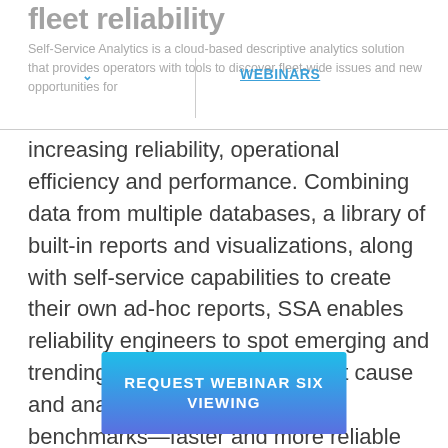Fleet Reliability
WEBINARS
Self-Service Analytics is a cloud-based descriptive analytics solution that provides operators with tools to discover fleet-wide issues and new opportunities for increasing reliability, operational efficiency and performance. Combining data from multiple databases, a library of built-in reports and visualizations, along with self-service capabilities to create their own ad-hoc reports, SSA enables reliability engineers to spot emerging and trending situations, research root cause and analyze industry trends and benchmarks—faster and more reliable than traditional, manual methods. Currently SSA already offers industry benchmarking analysis with 117 airlines amounting over 11,000 tails.
REQUEST WEBINAR SIX VIEWING